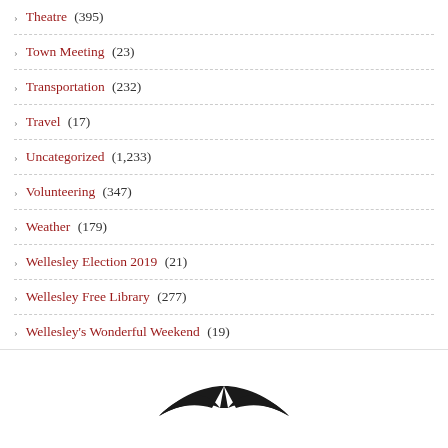Theatre (395)
Town Meeting (23)
Transportation (232)
Travel (17)
Uncategorized (1,233)
Volunteering (347)
Weather (179)
Wellesley Election 2019 (21)
Wellesley Free Library (277)
Wellesley's Wonderful Weekend (19)
[Figure (logo): Deland, Gibson Insurance logo with stylized umbrella/wing shape above the text DELAND, GIBSON INSURANCE]